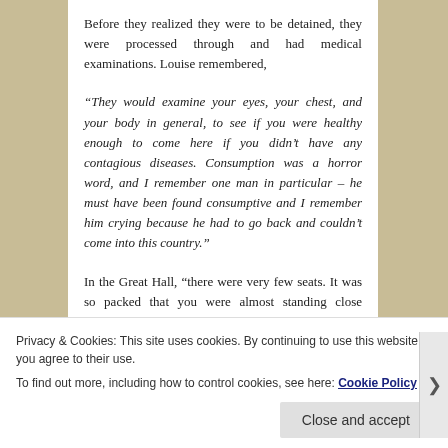Before they realized they were to be detained, they were processed through and had medical examinations. Louise remembered,
“They would examine your eyes, your chest, and your body in general, to see if you were healthy enough to come here if you didn’t have any contagious diseases. Consumption was a horror word, and I remember one man in particular – he must have been found consumptive and I remember him crying because he had to go back and couldn’t come into this country.”
In the Great Hall, “there were very few seats. It was so packed that you were almost standing close together. And I remember it was in August, it was very hot.” The hall
Privacy & Cookies: This site uses cookies. By continuing to use this website, you agree to their use.
To find out more, including how to control cookies, see here: Cookie Policy